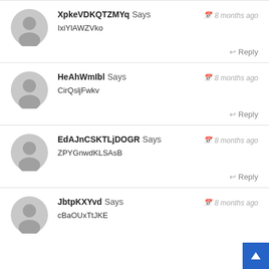XpkeVDKQTZMYq Says — 8 months ago
IxiYlAWZVko
Reply
HeAhWmIbl Says — 8 months ago
CirQsljFwkv
Reply
EdAJnCSKTLjDOGR Says — 8 months ago
ZPYGnwdKLSAsB
Reply
JbtpKXYvd Says — 8 months ago
cBaOUxTtJKE